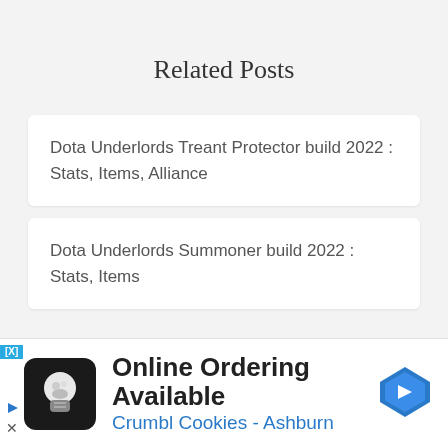Related Posts
Dota Underlords Treant Protector build 2022 : Stats, Items, Alliance
Dota Underlords Summoner build 2022 : Stats, Items
[Figure (other): Advertisement banner: Online Ordering Available - Crumbl Cookies - Ashburn, with cookie shop logo and navigation arrow icon]